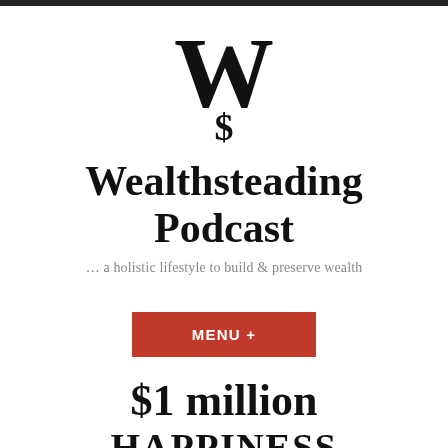[Figure (logo): Wealthsteading Podcast logo: large decorative W with a dollar sign S underneath, serif style]
Wealthsteading Podcast
… a holistic lifestyle to build & preserve wealth
MENU +
$1 million HAPPINESS